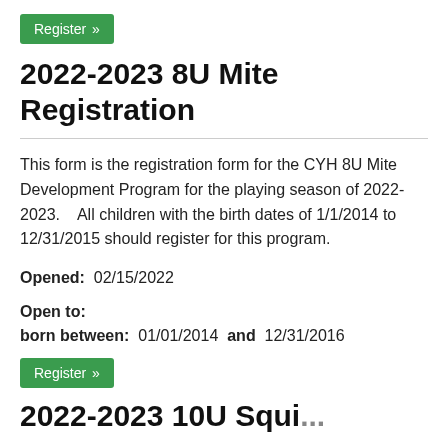[Figure (other): Green 'Register »' button at top of page]
2022-2023 8U Mite Registration
This form is the registration form for the CYH 8U Mite Development Program for the playing season of 2022-2023.    All children with the birth dates of 1/1/2014 to 12/31/2015 should register for this program.
Opened:  02/15/2022
Open to:
born between:  01/01/2014  and  12/31/2016
[Figure (other): Green 'Register »' button at bottom of section]
2022-2023 10U Squirt...